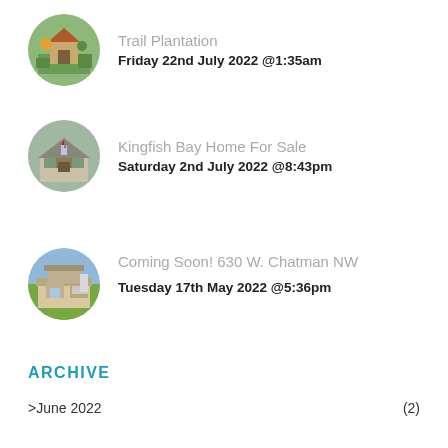[Figure (photo): Circular thumbnail of a house with green landscaping - Trail Plantation listing]
Trail Plantation
Friday 22nd July 2022 @1:35am
[Figure (photo): Circular thumbnail of a house with American flag and front door - Kingfish Bay Home For Sale listing]
Kingfish Bay Home For Sale
Saturday 2nd July 2022 @8:43pm
[Figure (photo): Circular thumbnail of a suburban house with garage - Coming Soon! 630 W. Chatman NW listing]
Coming Soon! 630 W. Chatman NW
Tuesday 17th May 2022 @5:36pm
ARCHIVE
>June 2022 (2)